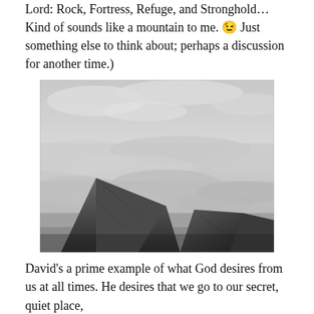Lord: Rock, Fortress, Refuge, and Stronghold…Kind of sounds like a mountain to me. 😉 Just something else to think about; perhaps a discussion for another time.)
[Figure (photo): Black and white photograph taken from a high mountain summit, showing rocky boulders in the foreground and a vast sea of clouds below stretching to the horizon.]
David's a prime example of what God desires from us at all times. He desires that we go to our secret, quiet place,